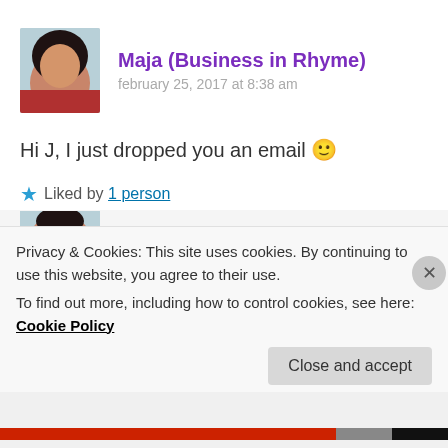Maja (Business in Rhyme)
february 25, 2017 at 8:38 am
Hi J, I just dropped you an email 🙂
Liked by 1 person
Reply
Privacy & Cookies: This site uses cookies. By continuing to use this website, you agree to their use.
To find out more, including how to control cookies, see here: Cookie Policy
Close and accept